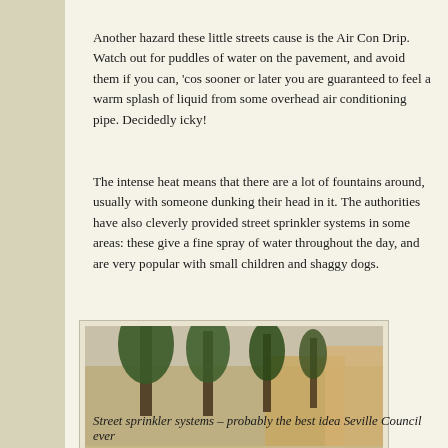Another hazard these little streets cause is the Air Con Drip. Watch out for puddles of water on the pavement, and avoid them if you can, 'cos sooner or later you are guaranteed to feel a warm splash of liquid from some overhead air conditioning pipe. Decidedly icky!
The intense heat means that there are a lot of fountains around, usually with someone dunking their head in it. The authorities have also cleverly provided street sprinkler systems in some areas: these give a fine spray of water throughout the day, and are very popular with small children and shaggy dogs.
[Figure (photo): A street sprinkler system area in Seville, showing water on the ground and trees lining a public square or plaza, with buildings in the background.]
Street sprinkler systems – probably the best idea Seville Council ever...
As in so many other hot countries we've seen, Spanish life mainly takes place outdoors: people sit on their terraces and balconies chatting late into the...